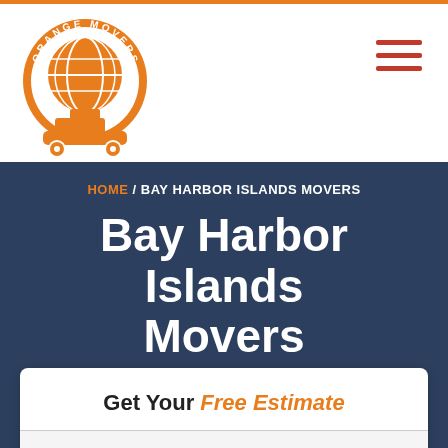[Figure (logo): Orange Movers circular logo with globe and truck on a skateboard]
[Figure (other): Hamburger menu icon with three horizontal red lines]
HOME / BAY HARBOR ISLANDS MOVERS
Bay Harbor Islands Movers
Get Your Free Estimate